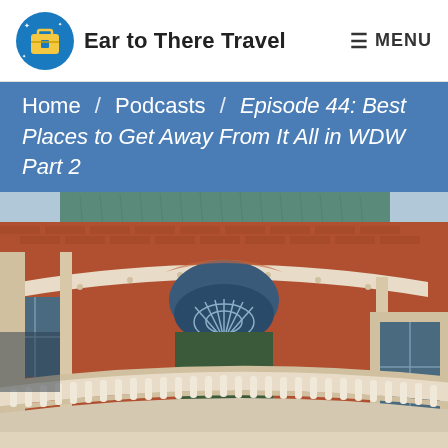Ear to There Travel  MENU
Home / Podcasts / Episode 44: Best Places to Get Away From It All in WDW Part 2
[Figure (photo): Exterior of a red brick building with curved architecture, arched window, teal/green roof tiles, and a curved white balustrade balcony in the foreground — appears to be a Disney World resort or BoardWalk area building.]